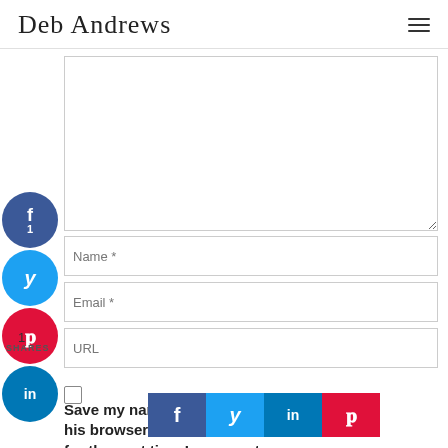Deb Andrews
[Figure (infographic): Social share sidebar with circular buttons: Facebook (f, count 1), Twitter (y), Pinterest (p), LinkedIn (in)]
Name *
Email *
URL
1
SHARES
Save my name, ... his browser for the next time I comment.
[Figure (infographic): Bottom share bar with Facebook, Twitter, LinkedIn, Pinterest buttons]